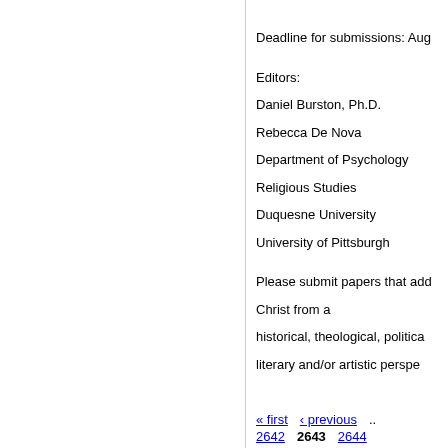Deadline for submissions: Aug
Editors:
Daniel Burston, Ph.D.
Rebecca De Nova
Department of Psychology
Religious Studies
Duquesne University
University of Pittsburgh
Please submit papers that add
Christ from a
historical, theological, politica
literary and/or artistic perspe
« first  ‹ previous  ..  2642  2643  2644